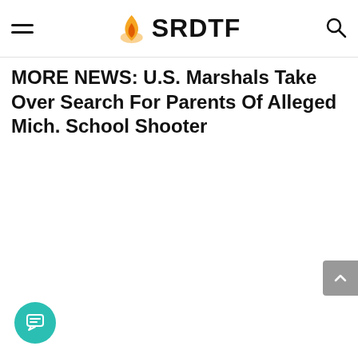SRDTF
MORE NEWS: U.S. Marshals Take Over Search For Parents Of Alleged Mich. School Shooter